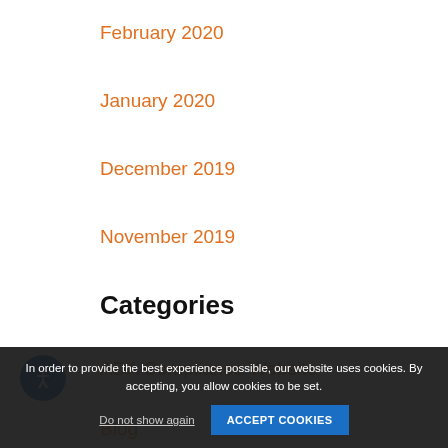February 2020
January 2020
December 2019
November 2019
Categories
ADA Compliance Website
Blog
Content Marketing
Digital Marketing
Digital Marketing Analytics
E-Commerce
Email Marketing
In order to provide the best experience possible, our website uses cookies. By accepting, you allow cookies to be set.
Do not show again
ACCEPT COOKIES